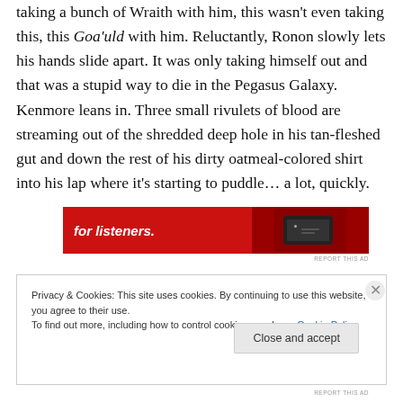taking a bunch of Wraith with him, this wasn't even taking this, this Goa'uld with him. Reluctantly, Ronon slowly lets his hands slide apart. It was only taking himself out and that was a stupid way to die in the Pegasus Galaxy. Kenmore leans in. Three small rivulets of blood are streaming out of the shredded deep hole in his tan-fleshed gut and down the rest of his dirty oatmeal-colored shirt into his lap where it's starting to puddle… a lot, quickly.
[Figure (other): Red advertisement banner with white italic bold text 'for listeners.' and a device image on the right]
REPORT THIS AD
Privacy & Cookies: This site uses cookies. By continuing to use this website, you agree to their use.
To find out more, including how to control cookies, see here: Cookie Policy

Close and accept